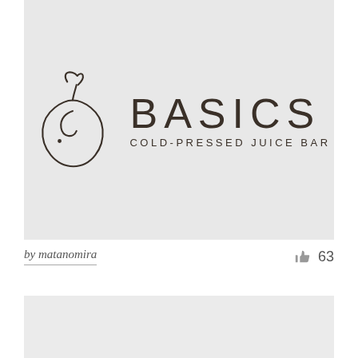[Figure (logo): Basics Cold-Pressed Juice Bar logo featuring a minimalist line-art pear icon and the text BASICS in large spaced letters with COLD-PRESSED JUICE BAR below, on a light gray background]
by matanomira
63
[Figure (other): Second gray image block partially visible at bottom of page]